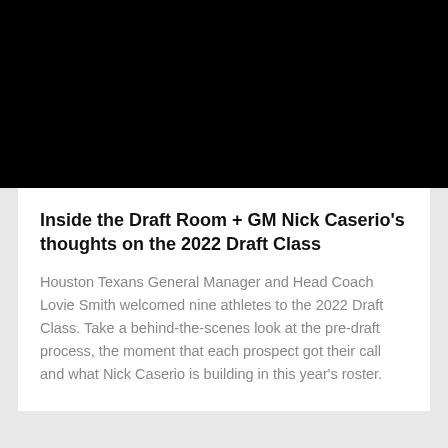[Figure (photo): Black image area at the top of the page, likely a video thumbnail or hero image.]
Inside the Draft Room + GM Nick Caserio's thoughts on the 2022 Draft Class
Houston Texans General Manager and Head Coach Lovie Smith welcomed nine athletes to the 2022 Draft Class. Take a behind-the-scenes look at the pre-draft process, the moment that each prospect got their call and what Nick Caserio is building in this year's roster.